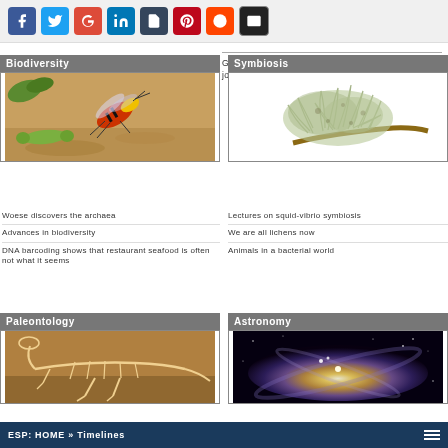[Figure (other): Social media sharing icons: Facebook, Twitter, Google+, LinkedIn, Tumblr, Pinterest, Reddit, Email]
Gates Foundation research can't be published in top journals
[Figure (photo): Biodiversity category header with photo of a red and yellow wasp/hornet on sandy ground near a green caterpillar]
Woese discovers the archaea
Advances in biodiversity
DNA barcoding shows that restaurant seafood is often not what it seems
[Figure (photo): Symbiosis category header with photo of lichen growing on a branch against white background]
Lectures on squid-vibrio symbiosis
We are all lichens now
Animals in a bacterial world
[Figure (photo): Paleontology category header with photo of a dinosaur skeleton]
[Figure (photo): Astronomy category header with photo of a spiral galaxy]
ESP: HOME » Timelines